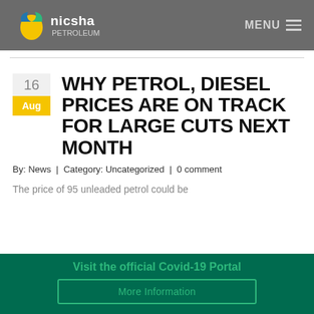nicsha petroleum — MENU
WHY PETROL, DIESEL PRICES ARE ON TRACK FOR LARGE CUTS NEXT MONTH
By: News  |  Category: Uncategorized  |  0 comment
The price of 95 unleaded petrol could be
Visit the official Covid-19 Portal
More Information